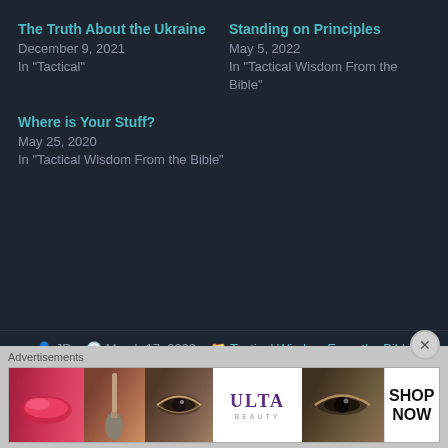The Truth About the Ukraine
December 9, 2021
In "Tactical"
Standing on Principles
May 5, 2022
In "Tactical Wisdom From the Bible"
Where is Your Stuff?
May 25, 2020
In "Tactical Wisdom From the Bible"
JD  March 17, 2022  Tactical Wisdom From the Bible
Preparedness, Prepping, Tactical,
Tactical Wisdom From the Bible
[Figure (photo): ULTA Beauty advertisement banner with cosmetic images]